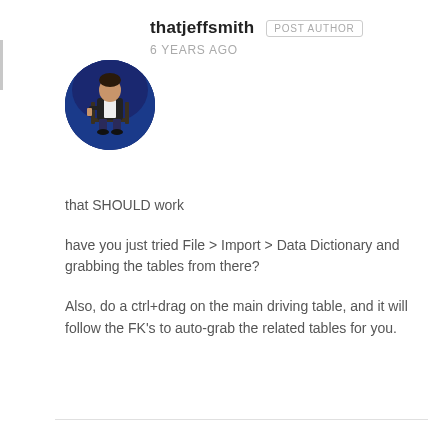thatjeffsmith   POST AUTHOR
6 YEARS AGO
[Figure (photo): Circular avatar photo of a person sitting in a chair on a blue/dark background, wearing a dark jacket and white shirt.]
that SHOULD work
have you just tried File > Import > Data Dictionary and grabbing the tables from there?
Also, do a ctrl+drag on the main driving table, and it will follow the FK's to auto-grab the related tables for you.